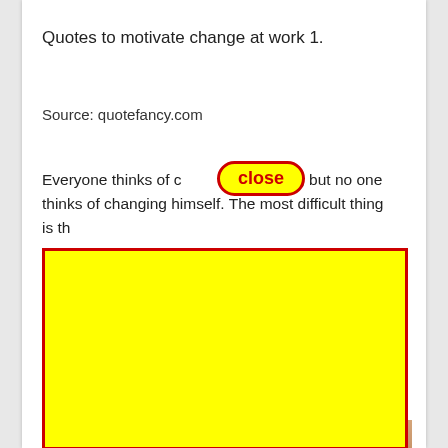Quotes to motivate change at work 1.
Source: quotefancy.com
Everyone thinks of changing the world, but no one thinks of changing himself. The most difficult thing is th…
[Figure (other): A 'close' button UI element with yellow background and red border/text overlay on top of content]
[Figure (other): Yellow rectangle with red border covering most of the lower portion of the page, obscuring content]
Sour…
To c… ng chan…